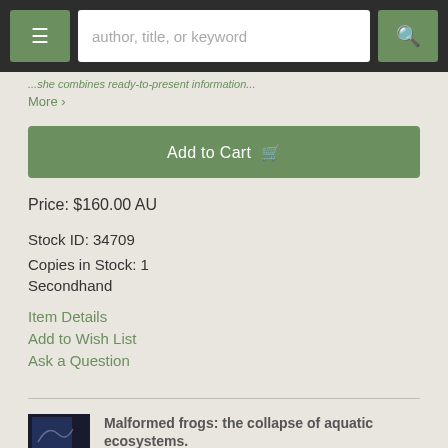author, title, or keyword
More >
Add to Cart
Price: $160.00 AU
Stock ID: 34709
Copies in Stock: 1
Secondhand
Item Details
Add to Wish List
Ask a Question
Malformed frogs: the collapse of aquatic ecosystems.